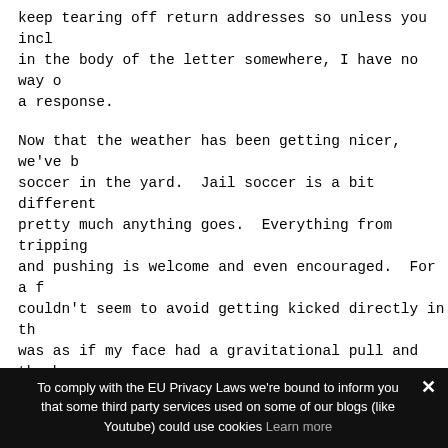keep tearing off return addresses so unless you incl in the body of the letter somewhere, I have no way o a response.
Now that the weather has been getting nicer, we've b soccer in the yard.  Jail soccer is a bit different pretty much anything goes.  Everything from tripping and pushing is welcome and even encouraged.  For a f couldn't seem to avoid getting kicked directly in th was as if my face had a gravitational pull and the b scientific inevitability.  Also, the shoes they give so it is common for shoes to accompany the ball in f kick.  At any given moment it is possible for multip through the air at once (yet more projectiles I have from).
I can't deny that sometimes I get frustrated in here essentially been reduced to three spaces:  my cell,
To comply with the EU Privacy Laws we're bound to inform you that some third party services used on some of our blogs (like Youtube) could use cookies Learn more